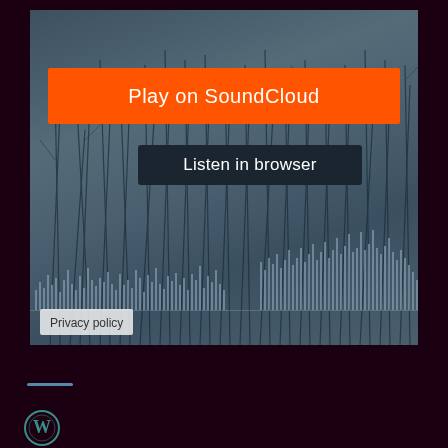[Figure (screenshot): SoundCloud embedded music player widget showing a dark teal background with grass/plant silhouettes, an orange 'Play on SoundCloud' button, a dark 'Listen in browser' button, a waveform at the bottom, and a Privacy policy label.]
Play on SoundCloud
Listen in browser
Privacy policy
[Figure (logo): WordPress circular logo in teal/dark green color at the bottom left of the page]